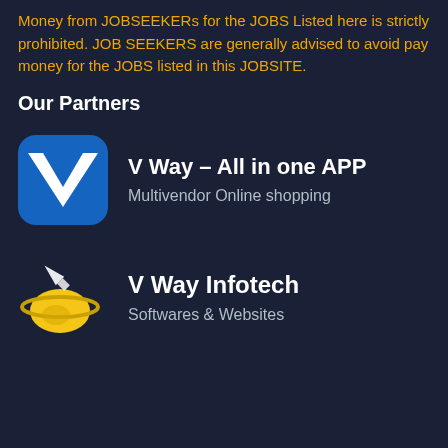Money from JOBSEEKERs for the JOBS Listed here is strictly prohibited. JOB SEEKERS are generally advised to avoid pay money for the JOBS listed in this JOBSITE.
Our Partners
[Figure (logo): V Way app logo - blue rounded square with white V chevron symbol]
V Way – All in one APP
Multivendor Online shopping
[Figure (logo): V Way Infotech logo - golden planet with rocket/arrow]
V Way Infotech
Softwares & Websites